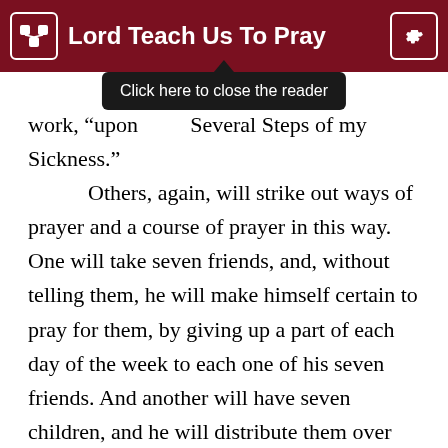Lord Teach Us To Pray
work, “upon … Several Steps of my Sickness.”
Others, again, will strike out ways of prayer and a course of prayer in this way. One will take seven friends, and, without telling them, he will make himself certain to pray for them, by giving up a part of each day of the week to each one of his seven friends. And another will have seven children, and he will distribute them over the week for special and importunate prayer. Another will take certain hours and certain days to work before God certain vices out of his own heart, and life, and